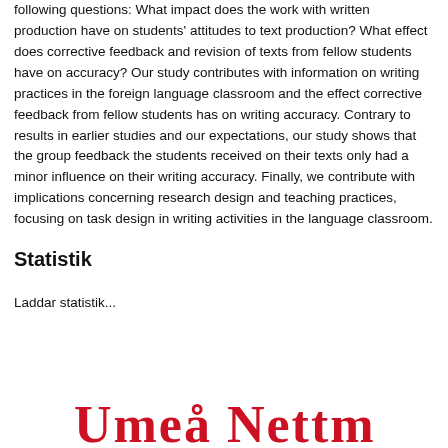following questions: What impact does the work with written production have on students' attitudes to text production? What effect does corrective feedback and revision of texts from fellow students have on accuracy? Our study contributes with information on writing practices in the foreign language classroom and the effect corrective feedback from fellow students has on writing accuracy. Contrary to results in earlier studies and our expectations, our study shows that the group feedback the students received on their texts only had a minor influence on their writing accuracy. Finally, we contribute with implications concerning research design and teaching practices, focusing on task design in writing activities in the language classroom.
Statistik
Laddar statistik...
[Figure (logo): University logo in red at bottom of page]